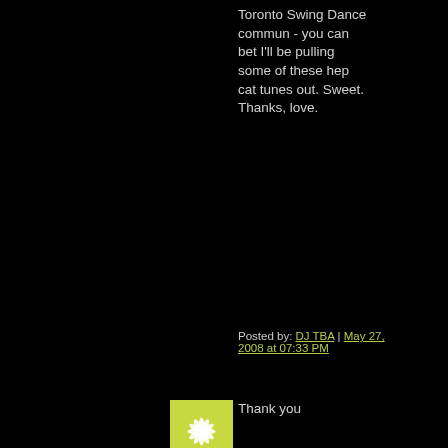Toronto Swing Dance commun - you can bet I'll be pulling some of these hep cat tunes out. Sweet. Thanks, love.
Posted by: DJ TBA | May 27, 2008 at 07:33 PM
[Figure (illustration): Square avatar image with yellow-green background and white starburst/flower pattern]
Thank you